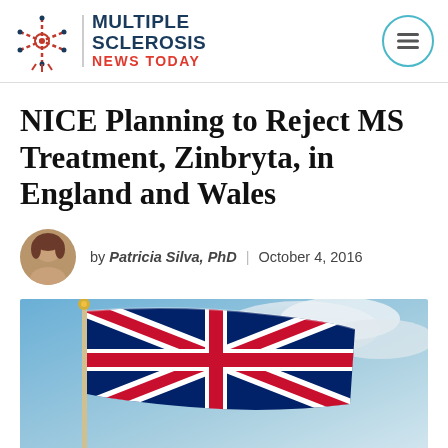Multiple Sclerosis News Today
NICE Planning to Reject MS Treatment, Zinbryta, in England and Wales
by Patricia Silva, PhD | October 4, 2016
[Figure (photo): UK Union Jack flag waving against a blue cloudy sky]